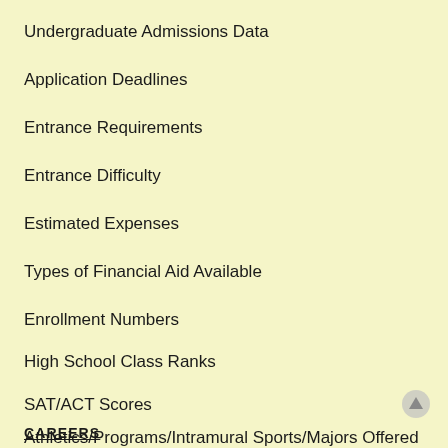Undergraduate Admissions Data
Application Deadlines
Entrance Requirements
Entrance Difficulty
Estimated Expenses
Types of Financial Aid Available
Enrollment Numbers
High School Class Ranks
SAT/ACT Scores
Athletics/Programs/Intramural Sports/Majors Offered
CAREERS